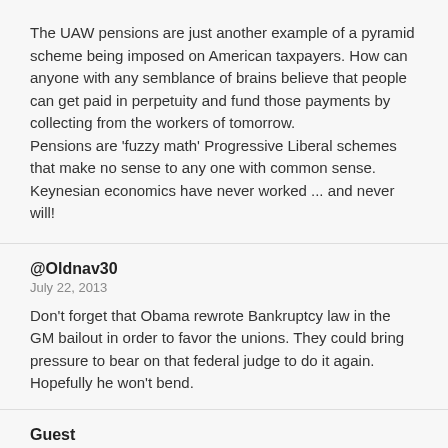The UAW pensions are just another example of a pyramid scheme being imposed on American taxpayers. How can anyone with any semblance of brains believe that people can get paid in perpetuity and fund those payments by collecting from the workers of tomorrow.
Pensions are 'fuzzy math' Progressive Liberal schemes that make no sense to any one with common sense.
Keynesian economics have never worked ... and never will!
@Oldnav30
July 22, 2013
Don't forget that Obama rewrote Bankruptcy law in the GM bailout in order to favor the unions. They could bring pressure to bear on that federal judge to do it again. Hopefully he won't bend.
Guest
July 22, 2013